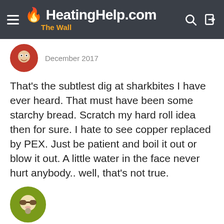HeatingHelp.com The Wall
December 2017
That's the subtlest dig at sharkbites I have ever heard. That must have been some starchy bread. Scratch my hard roll idea then for sure. I hate to see copper replaced by PEX. Just be patient and boil it out or blow it out. A little water in the face never hurt anybody.. well, that's not true.
HVACNUT  Member  Posts: 4,626
December 2017
Try using a wet vac with the purge drain valve open.